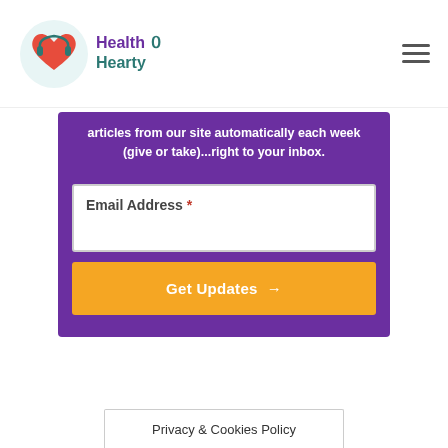HealthHearty
articles from our site automatically each week (give or take)...right to your inbox.
Email Address *
Get Updates →
Privacy & Cookies Policy